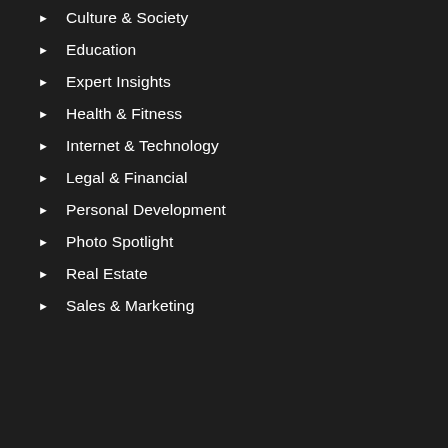Culture & Society
Education
Expert Insights
Health & Fitness
Internet & Technology
Legal & Financial
Personal Development
Photo Spotlight
Real Estate
Sales & Marketing